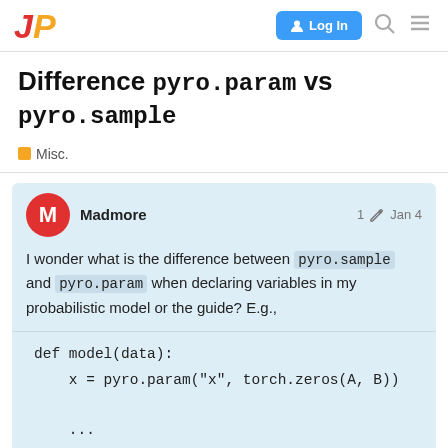Pyro Discourse forum navigation bar with logo, Log In button, search and menu icons
Difference `pyro.param` vs `pyro.sample`
Misc.
Madmore   1  Jan 4
I wonder what is the difference between pyro.sample and pyro.param when declaring variables in my probabilistic model or the guide? E.g.,
vs
1 / 7